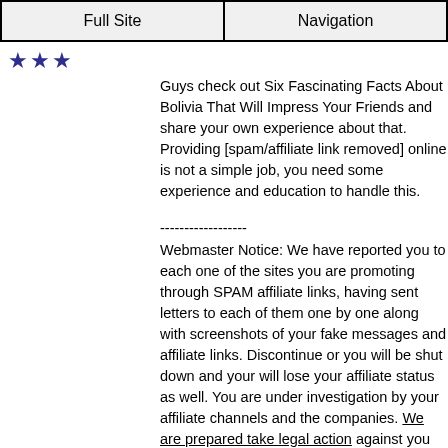Full Site | Navigation
★★★
Guys check out Six Fascinating Facts About Bolivia That Will Impress Your Friends and share your own experience about that. Providing [spam/affiliate link removed] online is not a simple job, you need some experience and education to handle this.
------------------
Webmaster Notice: We have reported you to each one of the sites you are promoting through SPAM affiliate links, having sent letters to each of them one by one along with screenshots of your fake messages and affiliate links. Discontinue or you will be shut down and your will lose your affiliate status as well. You are under investigation by your affiliate channels and the companies. We are prepared take legal action against you and ANY SITE YOUR PROMOTE OR LINK TO if you continue spamming our website. Consider yourself warned.